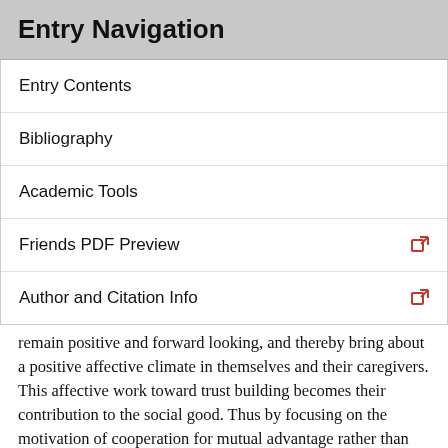Entry Navigation
Entry Contents
Bibliography
Academic Tools
Friends PDF Preview
Author and Citation Info
remain positive and forward looking, and thereby bring about a positive affective climate in themselves and their caregivers. This affective work toward trust building becomes their contribution to the social good. Thus by focusing on the motivation of cooperation for mutual advantage rather than fear of the depredations of others, a more inclusive and positive contractarian political theory comes into view. This view depends on the assumption (similar to one made by Gauthier) that our moral psychology is such that, once we develop our disposition to cooperate, we lose the disposition to cheat on agreements we have made or harm others to satisfy our